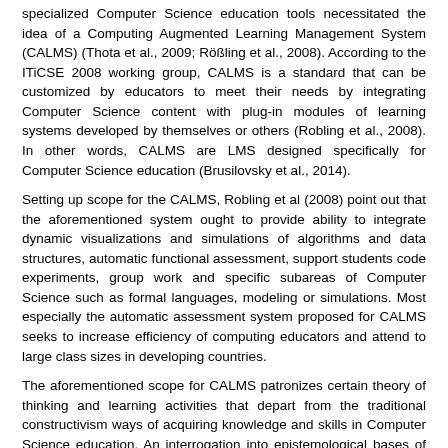specialized Computer Science education tools necessitated the idea of a Computing Augmented Learning Management System (CALMS) (Thota et al., 2009; Rößling et al., 2008). According to the ITiCSE 2008 working group, CALMS is a standard that can be customized by educators to meet their needs by integrating Computer Science content with plug-in modules of learning systems developed by themselves or others (Robling et al., 2008). In other words, CALMS are LMS designed specifically for Computer Science education (Brusilovsky et al., 2014).
Setting up scope for the CALMS, Robling et al (2008) point out that the aforementioned system ought to provide ability to integrate dynamic visualizations and simulations of algorithms and data structures, automatic functional assessment, support students code experiments, group work and specific subareas of Computer Science such as formal languages, modeling or simulations. Most especially the automatic assessment system proposed for CALMS seeks to increase efficiency of computing educators and attend to large class sizes in developing countries.
The aforementioned scope for CALMS patronizes certain theory of thinking and learning activities that depart from the traditional constructivism ways of acquiring knowledge and skills in Computer Science education. An interrogation into epistemological bases of CALMS stands to highlight underlying philosophical paradigm of computing educators towards online studies in Computer Science education. The implication of a philosophical paradigm from CALMS shed light on current theory of thinking of computing educators towards the debate between objectivism and constructivism. The extent of departure of computing educators' choice of learning activities from constructivism stand point towards adaptation of aspects of objectivism would